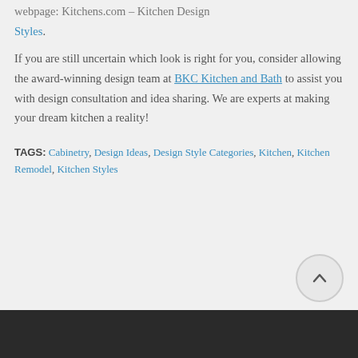webpage: Kitchens.com – Kitchen Design Styles.
If you are still uncertain which look is right for you, consider allowing the award-winning design team at BKC Kitchen and Bath to assist you with design consultation and idea sharing. We are experts at making your dream kitchen a reality!
TAGS: Cabinetry, Design Ideas, Design Style Categories, Kitchen, Kitchen Remodel, Kitchen Styles
[Figure (other): Scroll-to-top button circle with upward arrow]